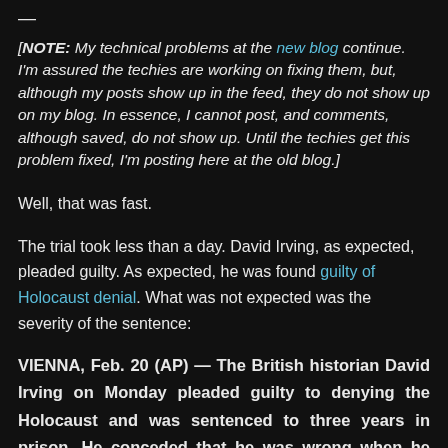—
[NOTE: My technical problems at the new blog continue. I'm assured the techies are working on fixing them, but, although my posts show up in the feed, they do not show up on my blog. In essence, I cannot post, and comments, although saved, do not show up. Until the techies get this problem fixed, I'm posting here at the old blog.]
Well, that was fast.
The trial took less than a day. David Irving, as expected, pleaded guilty. As expected, he was found guilty of Holocaust denial. What was not expected was the severity of the sentence:
VIENNA, Feb. 20 (AP) — The British historian David Irving on Monday pleaded guilty to denying the Holocaust and was sentenced to three years in prison. He conceded that he was wrong when he said there